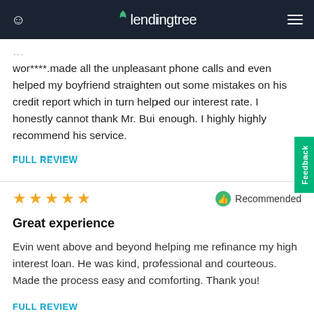lendingtree
wor****.made all the unpleasant phone calls and even helped my boyfriend straighten out some mistakes on his credit report which in turn helped our interest rate. I honestly cannot thank Mr. Bui enough. I highly highly recommend his service.
FULL REVIEW
★★★★★  Recommended
Great experience
Evin went above and beyond helping me refinance my high interest loan. He was kind, professional and courteous. Made the process easy and comforting. Thank you!
FULL REVIEW